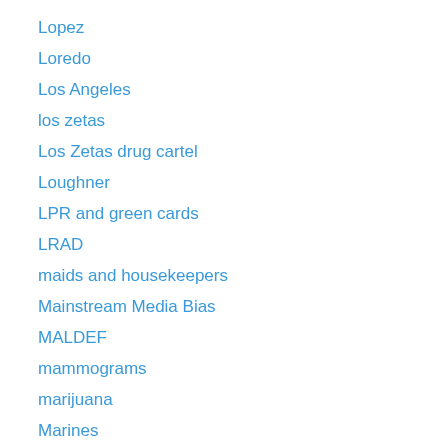Lopez
Loredo
Los Angeles
los zetas
Los Zetas drug cartel
Loughner
LPR and green cards
LRAD
maids and housekeepers
Mainstream Media Bias
MALDEF
mammograms
marijuana
Marines
Maritime smuggling
Mark Meckler
Mason Weaver
May Day rallies
May Day videos
Mayor Bloomberg